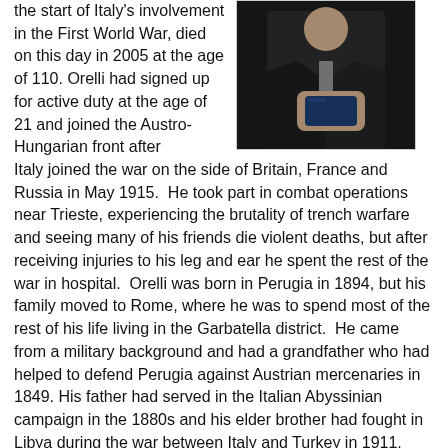the start of Italy's involvement in the First World War, died on this day in 2005 at the age of 110. Orelli had signed up for active duty at the age of 21 and joined the Austro-Hungarian front after Italy joined the war on the side of Britain, France and Russia in May 1915.  He took part in combat operations near Trieste, experiencing the brutality of trench warfare and seeing many of his friends die violent deaths, but after receiving injuries to his leg and ear he spent the rest of the war in hospital.  Orelli was born in Perugia in 1894, but his family moved to Rome, where he was to spend most of the rest of his life living in the Garbatella district.  He came from a military background and had a grandfather who had helped to defend Perugia against Austrian mercenaries in 1849. His father had served in the Italian Abyssinian campaign in the 1880s and his elder brother had fought in Libya during the war between Italy and Turkey in 1911.  The wounds Orelli suffered during a confrontation with Austrian soldiers ended his military career and he spent the rest of the war recovering from an infection in hospital.  Read more...
[Figure (photo): A person in a dark suit holding what appears to be a small book or document, photographed from chest up against a dark background.]